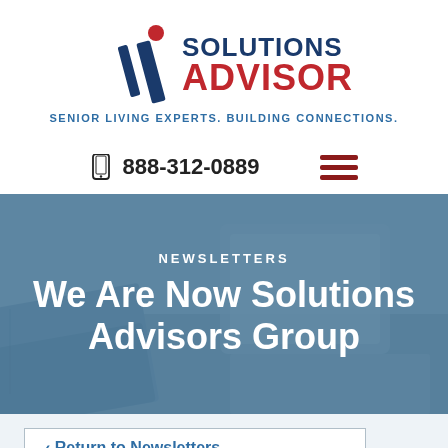[Figure (logo): Solutions Advisors logo with diagonal red/blue swoosh mark and text 'SOLUTIONS ADVISORS']
SENIOR LIVING EXPERTS. BUILDING CONNECTIONS.
888-312-0889
[Figure (photo): Hero banner image with blue overlay showing books, tablet, and notebooks on a desk]
NEWSLETTERS
We Are Now Solutions Advisors Group
< Return to Newsletters